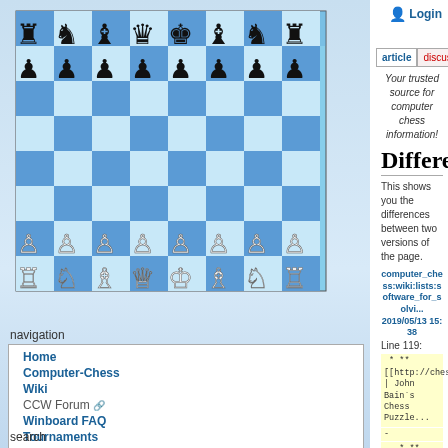[Figure (illustration): Chess board with chess pieces arranged, blue and white squares, shown in the left sidebar]
navigation
Home
Computer-Chess
Wiki
CCW Forum
Winboard FAQ
Tournaments
Engines
Download
Lists
Links
Site map
Recent Changes
Wiki Help
search
article  discussion  show pagesource
Your trusted source for computer chess information!
Differences
This shows you the differences between two versions of the page.
computer_chess:wiki:lists:software_for_solvi...
2019/05/13 15:38
Line 119:
* **[[http://chesspuzzles.com | John Bain´s Chess Puzzle...
-
- * **[[http://oproblemista.com.br | Leo Mano´s Problemas...
(Portuguese)]]**
-
- * **[[http://free.of.pl/c/ccintorun/g/100pt.pdf | Marek Kwia...
threemovers (PDF)]]** - **[[http://free.of.pl/c/ccintorun/g/...
HTML]]**
* **[[http://www.bertvandermarel.nl/mastermove/index.ht...
van der Marel]]**